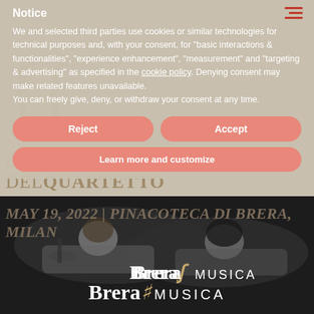Notice
We and selected third parties use cookies or similar technologies for technical purposes and, with your consent, for "basic interactions & functionalities", "experience enhancement", "measurement" and "targeting & advertising" as specified in the cookie policy. Denying consent may make related features unavailable.
You can freely give, deny, or withdraw your consent at any time.
Reject
Accept
Learn more and customize
LE DIMORE DEL QUARTETTO
MAY 19, 2022 | PINACOTECA DI BRERA, MILAN
[Figure (photo): Black and white photo of two musicians lying down, one holding a violin/cello, with 'Brera Musica' logo overlaid at bottom]